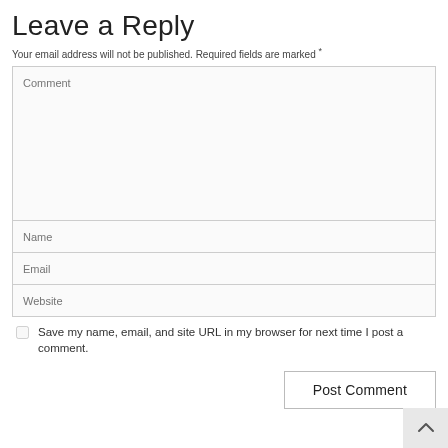Leave a Reply
Your email address will not be published. Required fields are marked *
[Figure (screenshot): Web comment form with fields for Comment (textarea), Name, Email, Website, a checkbox for saving browser info, and a Post Comment button]
Save my name, email, and site URL in my browser for next time I post a comment.